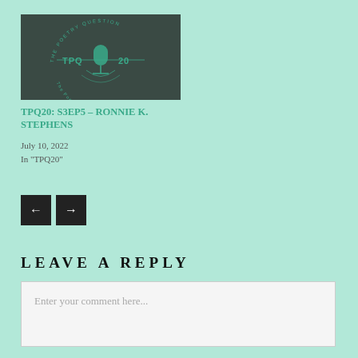[Figure (logo): TPQ20 podcast logo on dark teal/grey background with microphone and 'THE POETRY QUESTION' text arc, TPQ and 20 labels]
TPQ20: S3EP5 – RONNIE K. STEPHENS
July 10, 2022
In "TPQ20"
← →
LEAVE A REPLY
Enter your comment here...